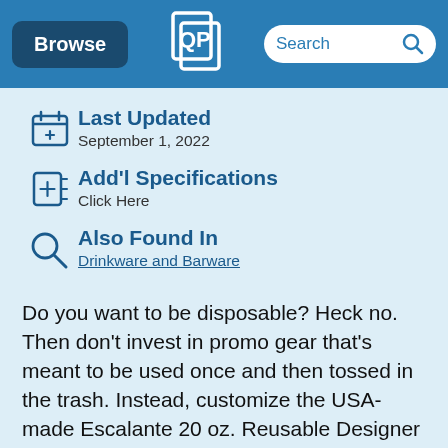Browse | [QP Logo] | Search
Last Updated
September 1, 2022
Add'l Specifications
Click Here
Also Found In
Drinkware and Barware
Do you want to be disposable? Heck no. Then don't invest in promo gear that's meant to be used once and then tossed in the trash. Instead, customize the USA-made Escalante 20 oz. Reusable Designer Beverage Cup. It's reusable, and comes in three versatile colors white, black, and red. Just pick your